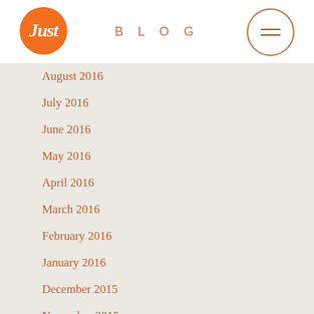[Figure (logo): Orange circle with cursive white 'Just' text logo]
BLOG
[Figure (other): Menu hamburger icon inside an orange circle outline]
August 2016
July 2016
June 2016
May 2016
April 2016
March 2016
February 2016
January 2016
December 2015
November 2015
October 2015
September 2015